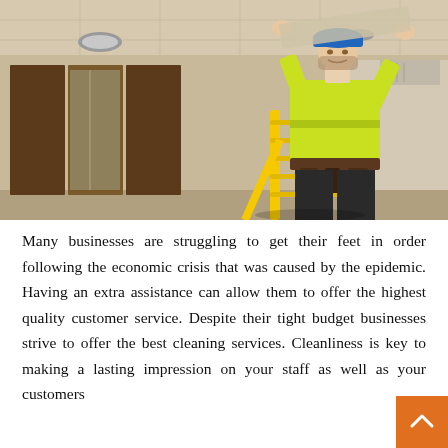[Figure (photo): A construction or maintenance worker wearing a yellow high-visibility vest, blue hard hat, and tool belt, standing on a yellow step ladder and working on ceiling tiles in an office environment with sliding glass/wood doors visible in the background.]
Many businesses are struggling to get their feet in order following the economic crisis that was caused by the epidemic. Having an extra assistance can allow them to offer the highest quality customer service. Despite their tight budget businesses strive to offer the best cleaning services. Cleanliness is key to making a lasting impression on your staff as well as your customers.